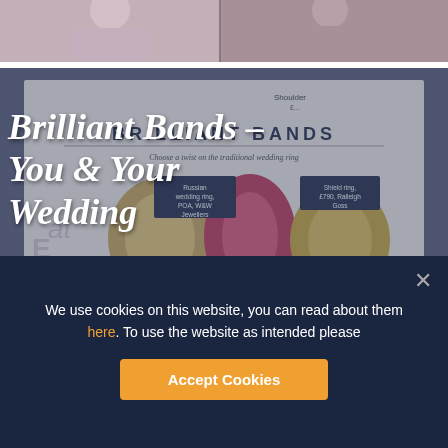[Figure (photo): Top strip showing people at a wedding event, partially visible]
[Figure (photo): Magazine article page showing 'Brilliant Bands' feature with wedding rings including Russian wedding ring POA W&W Jewellers, Shield ring £790 Ralleigh Goss, and Rose gold and white diamond ring £2400 Nadine Aysay, overlaid with handwritten script title 'Brilliant Bands – You & Your Wedding']
Brilliant Bands – You & Your Wedding
We use cookies on this website, you can read about them here. To use the website as intended please
Accept Cookies